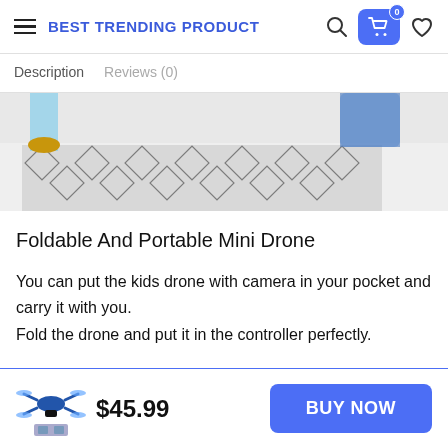BEST TRENDING PRODUCT
Description   Reviews (0)
[Figure (photo): Partial photo showing person's feet in yellow shoes standing on a decorative geometric patterned rug on a white floor, with a denim bag visible in background]
Foldable And Portable Mini Drone
You can put the kids drone with camera in your pocket and carry it with you.
Fold the drone and put it in the controller perfectly.
[Figure (photo): Small product image of a mini drone with accessories]
$45.99
BUY NOW